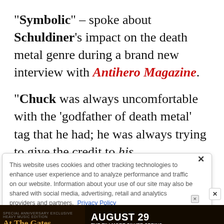"Symbolic" – spoke about Schuldiner's impact on the death metal genre during a brand new interview with Antihero Magazine.
"Chuck was always uncomfortable with the 'godfather of death metal' tag that he had; he was always trying to give the credit to his predecessors," the drummer said. "Chuck didn't
This website uses cookies and other tracking technologies to enhance user experience and to analyze performance and traffic on our website. Information about your use of our site may also be shared with social media, advertising, retail and analytics providers and partners. Privacy Policy
[Figure (other): Ad banner for At The Gates concert at The Fillmore Silver Spring, August 29]